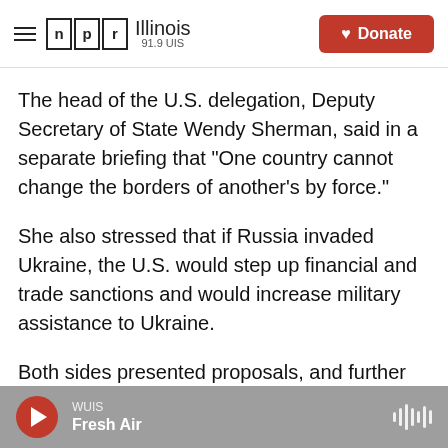NPR Illinois 91.9 UIS | Donate
The head of the U.S. delegation, Deputy Secretary of State Wendy Sherman, said in a separate briefing that "One country cannot change the borders of another's by force."
She also stressed that if Russia invaded Ukraine, the U.S. would step up financial and trade sanctions and would increase military assistance to Ukraine.
Both sides presented proposals, and further talks could follow soon, said Sherman, who described Monday's meeting as a discussion, not a
WUIS Fresh Air